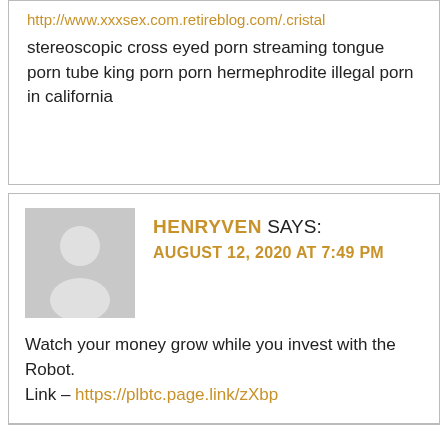http://www.xxxsex.com.retireblog.com/.cristal
stereoscopic cross eyed porn streaming tongue porn tube king porn porn hermephrodite illegal porn in california
HENRYVEN SAYS: AUGUST 12, 2020 AT 7:49 PM
[Figure (illustration): Default grey avatar placeholder image showing a silhouette of a person]
Watch your money grow while you invest with the Robot.
Link – https://plbtc.page.link/zXbp